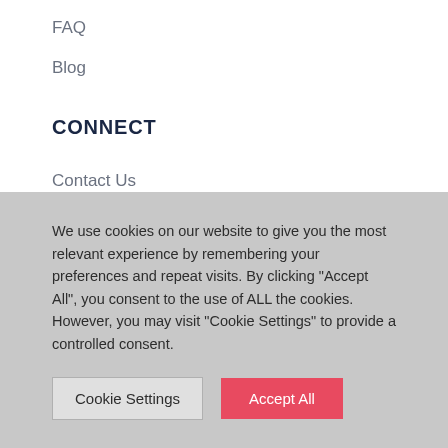FAQ
Blog
CONNECT
Contact Us
Twitter
LinkedIn
Facebook
We use cookies on our website to give you the most relevant experience by remembering your preferences and repeat visits. By clicking "Accept All", you consent to the use of ALL the cookies. However, you may visit "Cookie Settings" to provide a controlled consent.
Cookie Settings | Accept All